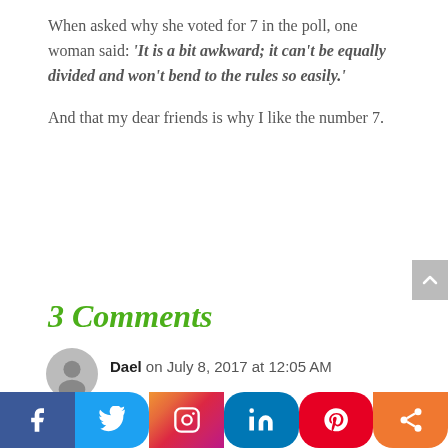When asked why she voted for 7 in the poll, one woman said: 'It is a bit awkward; it can't be equally divided and won't bend to the rules so easily.'

And that my dear friends is why I like the number 7.
3 Comments
Dael on July 8, 2017 at 12:05 AM